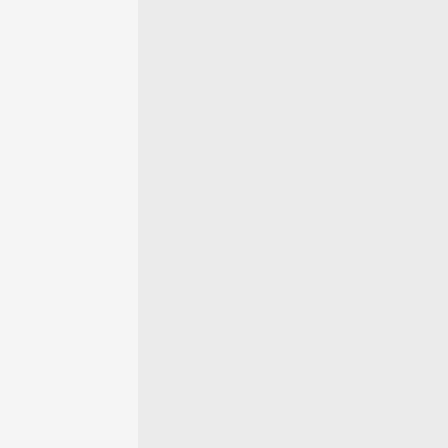Could you enlarge on th
Was standing in a line at the airpo... help but notice this teenage kid ne... sorts he was obviously playing, if y... to something that really isn't there... sensed.
Plenty of vids out about the univer... French scientists came up with th... responsible.
All that belongs to human unde... and not to admit of any hypothe... probability…...Hume
ox
Forum Cosmic Wizard
February 26th, 2022, 08:13 AM